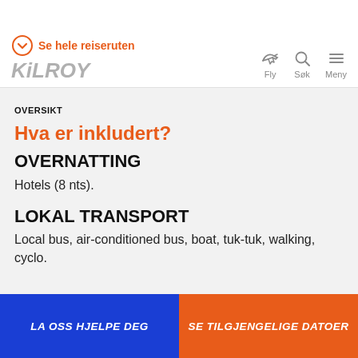Se hele reiseruten · KILROY · Fly · Søk · Meny
OVERSIKT
Hva er inkludert?
OVERNATTING
Hotels (8 nts).
LOKAL TRANSPORT
Local bus, air-conditioned bus, boat, tuk-tuk, walking, cyclo.
LA OSS HJELPE DEG · SE TILGJENGELIGE DATOER